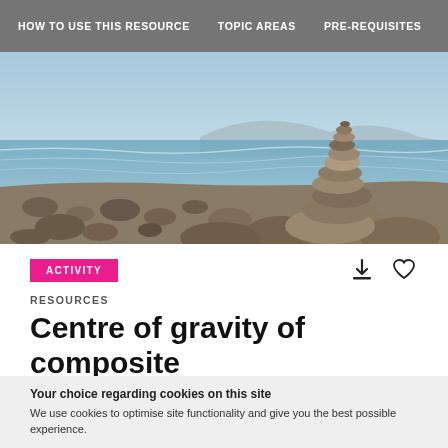HOW TO USE THIS RESOURCE   TOPIC AREAS   PRE-REQUISITES
[Figure (photo): A stack of balanced pebbles on a rocky beach with ocean and mountains in the background]
ACTIVITY
RESOURCES
Centre of gravity of composite
Your choice regarding cookies on this site
We use cookies to optimise site functionality and give you the best possible experience.